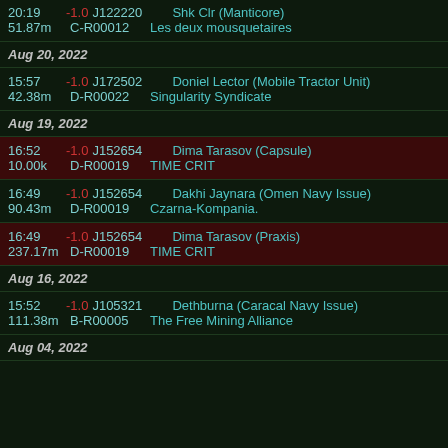| Time/ISK | Security/System | Name/Corp |
| --- | --- | --- |
| 20:19 / 51.87m | -1.0 J122220 / C-R00012 | Shk Clr (Manticore) / Les deux mousquetaires |
| Aug 20, 2022 |  |  |
| 15:57 / 42.38m | -1.0 J172502 / D-R00022 | Doniel Lector (Mobile Tractor Unit) / Singularity Syndicate |
| Aug 19, 2022 |  |  |
| 16:52 / 10.00k | -1.0 J152654 / D-R00019 | Dima Tarasov (Capsule) / TIME CRIT |
| 16:49 / 90.43m | -1.0 J152654 / D-R00019 | Dakhi Jaynara (Omen Navy Issue) / Czarna-Kompania. |
| 16:49 / 237.17m | -1.0 J152654 / D-R00019 | Dima Tarasov (Praxis) / TIME CRIT |
| Aug 16, 2022 |  |  |
| 15:52 / 111.38m | -1.0 J105321 / B-R00005 | Dethburna (Caracal Navy Issue) / The Free Mining Alliance |
| Aug 04, 2022 |  |  |